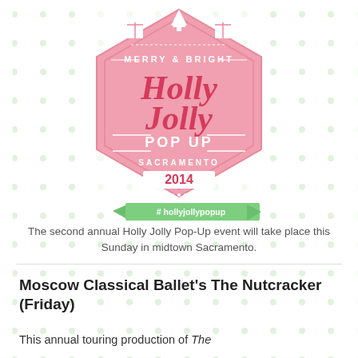[Figure (logo): Holly Jolly Pop Up Sacramento 2014 hexagonal pink badge logo with Christmas tree, gift icons, #hollyjollypopup green ribbon banner, and polka dot background]
The second annual Holly Jolly Pop-Up event will take place this Sunday in midtown Sacramento.
Moscow Classical Ballet's The Nutcracker (Friday)
This annual touring production of The